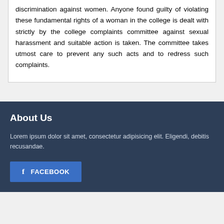discrimination against women. Anyone found guilty of violating these fundamental rights of a woman in the college is dealt with strictly by the college complaints committee against sexual harassment and suitable action is taken. The committee takes utmost care to prevent any such acts and to redress such complaints.
About Us
Lorem ipsum dolor sit amet, consectetur adipisicing elit. Eligendi, debitis recusandae.
FACEBOOK